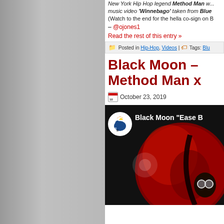New York Hip Hop legend Method Man... music video 'Winnebago' taken from Blue... (Watch to the end for the hella co-sign on B...
– @ojones1
Read the rest of this entry »
Posted in Hip-Hop, Videos | Tags: Blu...
Black Moon – Method Man x...
October 23, 2019
[Figure (screenshot): YouTube video thumbnail for Black Moon 'Ease Back' featuring a red moon background and a person wearing round glasses, with the Black Moon YouTube channel logo in the top left corner.]